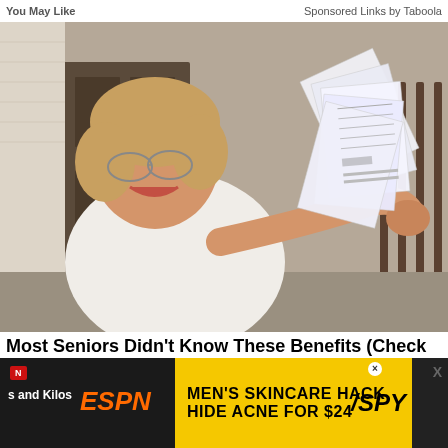You May Like   Sponsored Links by Taboola
[Figure (photo): Elderly woman smiling and holding up a fan of papers/documents, standing in front of a house porch]
Most Seniors Didn't Know These Benefits (Check These Now)
QMedicare
[Figure (infographic): Advertisement banner: MEN'S SKINCARE HACK HIDE ACNE FOR $24 with SPY logo, with ESPN and 'a and Kilos' branding on the left side]